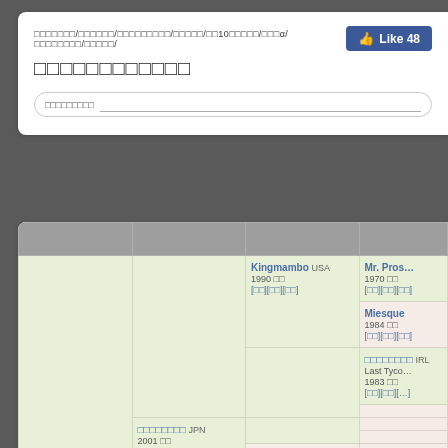□□□□□□□/□□□□□□/□□□□□□□□□/□□□□□/□□10□□□□□/□□□α/□□□□□□□□/□□□□□/
□□□□□□□□□□□□
□□□□□□□□□
|  |  |  |  |
| --- | --- | --- | --- |
|  |  | Kingmambo USA
1990 □□
[□□][□□][□□] | Mr. Pros…
1970 □□
[□□][□□][□□] |
|  | □□□□□□□□ JPN
2001 □□
[□□][□□][□□] |  | Miesque
1984 □□
[□□][□□][□□] |
|  |  |  | □□□□□□□□ IRL
Last Tyco…
1983 □□
[□□][□□][…] |